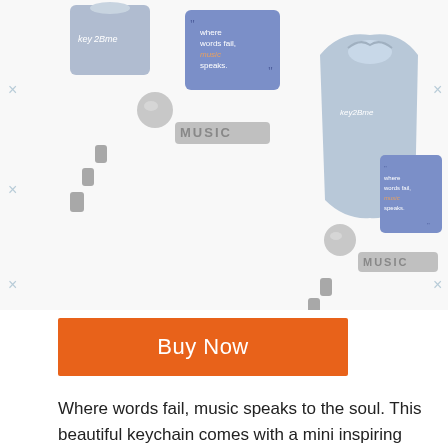[Figure (photo): Two product photos of a music-themed keychain set. Left photo shows a metal 'MUSIC' keychain with lobster clasp and a blue card reading 'where words fail, music speaks.' Right photo shows same keychain set with a light blue drawstring pouch bag branded 'key2Bme' and the same quote card. Background is white.]
Buy Now
Where words fail, music speaks to the soul. This beautiful keychain comes with a mini inspiring quote card that matches the keychain.
Piano Player Christmas Ornament